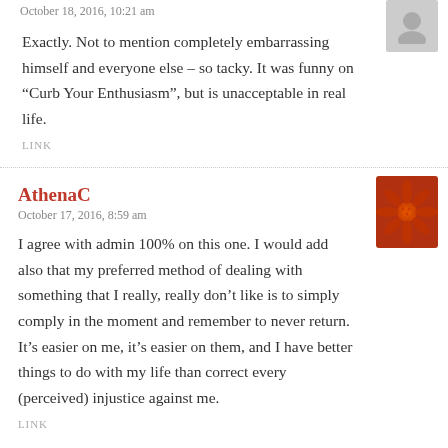October 18, 2016, 10:21 am
Exactly. Not to mention completely embarrassing himself and everyone else – so tacky. It was funny on “Curb Your Enthusiasm”, but is unacceptable in real life.
LINK
AthenaC
October 17, 2016, 8:59 am
I agree with admin 100% on this one. I would add also that my preferred method of dealing with something that I really, really don’t like is to simply comply in the moment and remember to never return. It’s easier on me, it’s easier on them, and I have better things to do with my life than correct every (perceived) injustice against me.
LINK